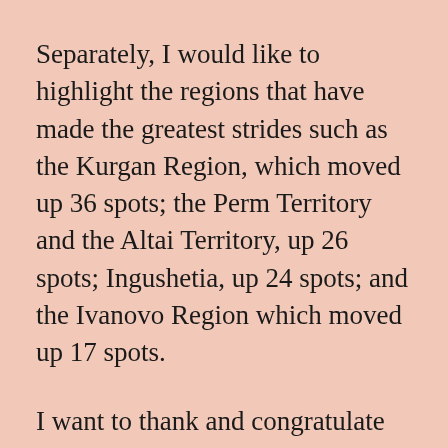Separately, I would like to highlight the regions that have made the greatest strides such as the Kurgan Region, which moved up 36 spots; the Perm Territory and the Altai Territory, up 26 spots; Ingushetia, up 24 spots; and the Ivanovo Region which moved up 17 spots.
I want to thank and congratulate our colleagues in the regions for their good work.
The federal government and regional and municipal governments should focus on supporting individual business initiatives in small towns and remote rural communities. We are aware of such stories of success. That